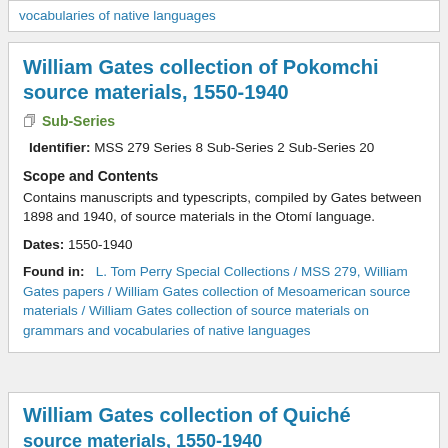vocabularies of native languages
William Gates collection of Pokomchi source materials, 1550-1940
Sub-Series
Identifier: MSS 279 Series 8 Sub-Series 2 Sub-Series 20
Scope and Contents
Contains manuscripts and typescripts, compiled by Gates between 1898 and 1940, of source materials in the Otomí language.
Dates: 1550-1940
Found in: L. Tom Perry Special Collections / MSS 279, William Gates papers / William Gates collection of Mesoamerican source materials / William Gates collection of source materials on grammars and vocabularies of native languages
William Gates collection of Quiché source materials, 1550-1940